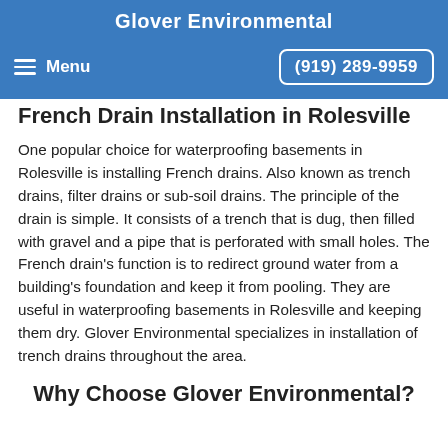Glover Environmental
Menu   (919) 289-9959
French Drain Installation in Rolesville
One popular choice for waterproofing basements in Rolesville is installing French drains. Also known as trench drains, filter drains or sub-soil drains. The principle of the drain is simple. It consists of a trench that is dug, then filled with gravel and a pipe that is perforated with small holes. The French drain's function is to redirect ground water from a building's foundation and keep it from pooling. They are useful in waterproofing basements in Rolesville and keeping them dry. Glover Environmental specializes in installation of trench drains throughout the area.
Why Choose Glover Environmental?